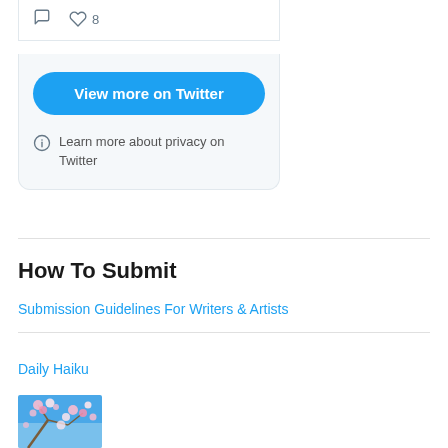[Figure (screenshot): Twitter widget showing tweet icons (comment and heart with count 8)]
[Figure (screenshot): Twitter widget 'View more on Twitter' button and privacy info section]
How To Submit
Submission Guidelines For Writers & Artists
Daily Haiku
[Figure (photo): Thumbnail image of cherry blossoms against blue sky]